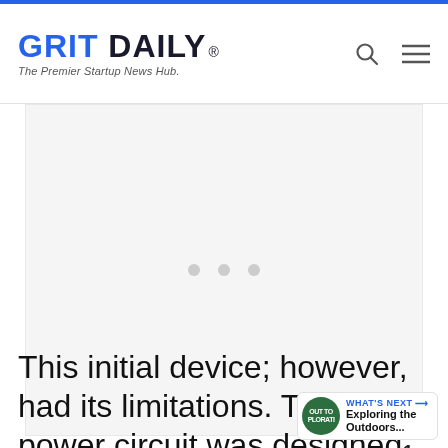GRIT DAILY® — The Premier Startup News Hub.
[Figure (other): Advertisement placeholder area with three gray dots centered]
This initial device; however, had its limitations. The power circuit was designed so the battery would last a